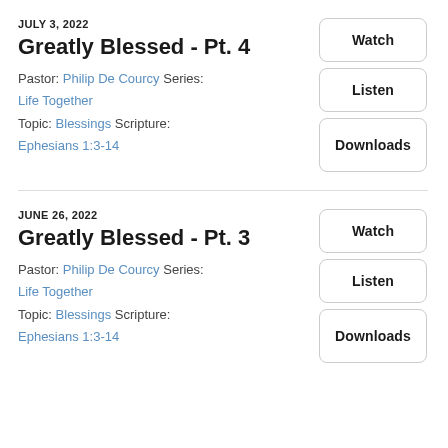JULY 3, 2022
Greatly Blessed - Pt. 4
Pastor: Philip De Courcy Series: Life Together
Topic: Blessings Scripture: Ephesians 1:3-14
Watch
Listen
Downloads
JUNE 26, 2022
Greatly Blessed - Pt. 3
Pastor: Philip De Courcy Series: Life Together
Topic: Blessings Scripture: Ephesians 1:3-14
Watch
Listen
Downloads